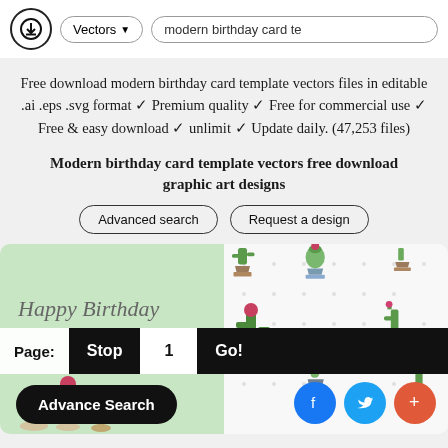Vectors ▾   modern birthday card te
Free download modern birthday card template vectors files in editable .ai .eps .svg format ✓ Premium quality ✓ Free for commercial use ✓ Free & easy download ✓ unlimit ✓ Update daily. (47,253 files)
Modern birthday card template vectors free download graphic art designs
Advanced search   Request a design
[Figure (screenshot): Two birthday card design thumbnails side by side: left is a green card with 'Happy Birthday' in script with cactus illustrations, right shows a white background with multiple cactus/succulent pot illustrations arranged in a pattern.]
Page: Stop 1 Go!
Advance Search